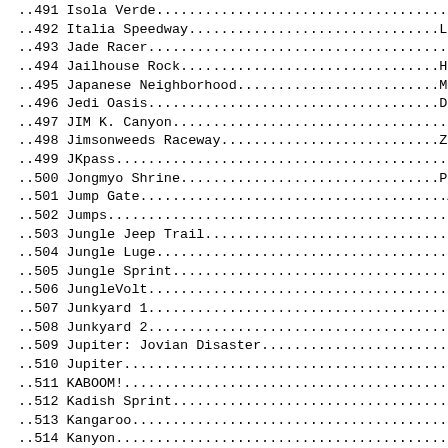..491 Isola Verde....................................Cresc
..492 Italia Speedway...............................Lo Sc
..493 Jade Racer.....................................hilai
..494 Jailhouse Rock................................Human
..495 Japanese Neighborhood.........................Mirko
..496 Jedi Oasis....................................Draco
..497 JIM K. Canyon..................................ricky
..498 Jimsonweeds Raceway...........................Zeino
..499 JKpass..........................................ricky
..500 Jongmyo Shrine................................Paper
..501 Jump Gate......................................Allan
..502 Jumps...........................................Kevin
..503 Jungle Jeep Trail..............................ricky
..504 Jungle Luge.....................................ricky
..505 Jungle Sprint...................................hilai
..506 JungleVolt.....................................Urnem
..507 Junkyard 1......................................Xarc.
..508 Junkyard 2......................................Xarc.
..509 Jupiter: Jovian Disaster.......................Biome
..510 Jupiter.........................................Biome
..511 KABOOM!..........................................Cosmi
..512 Kadish Sprint...................................Dyspr
..513 Kangaroo........................................hilai
..514 Kanyon..........................................Hesse
..515 Kart Drome 2011................................Lo Sc
..516 Keitune Speedway...............................Macel
..517 Kindiak Volt Park..............................Draco
..518 Klashers Trippple 8...........................Macel
..519 L.A. Smash......................................ricky
..520 La Caverne 2...................................Kille